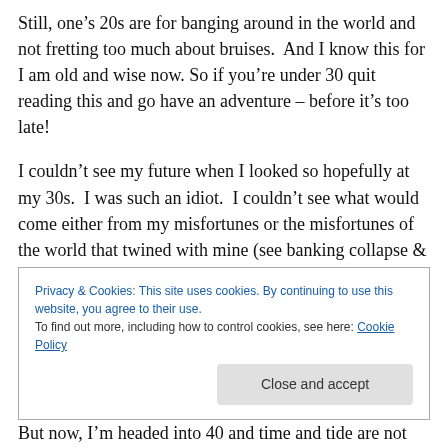Still, one’s 20s are for banging around in the world and not fretting too much about bruises.  And I know this for I am old and wise now. So if you’re under 30 quit reading this and go have an adventure – before it’s too late!
I couldn’t see my future when I looked so hopefully at my 30s.  I was such an idiot.  I couldn’t see what would come either from my misfortunes or the misfortunes of the world that twined with mine (see banking collapse & Great Recession).  I couldn’t see how my forward movement would disappear, swallowed whole by depression that
Privacy & Cookies: This site uses cookies. By continuing to use this website, you agree to their use.
To find out more, including how to control cookies, see here: Cookie Policy
[Close and accept]
But now, I’m headed into 40 and time and tide are not